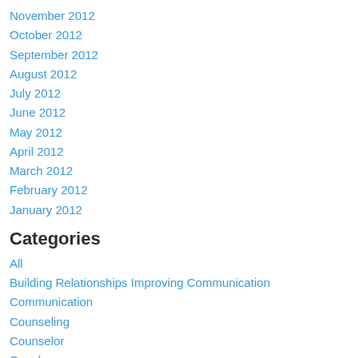November 2012
October 2012
September 2012
August 2012
July 2012
June 2012
May 2012
April 2012
March 2012
February 2012
January 2012
Categories
All
Building Relationships Improving Communication
Communication
Counseling
Counselor
Couples
Couples Counseling
Dating